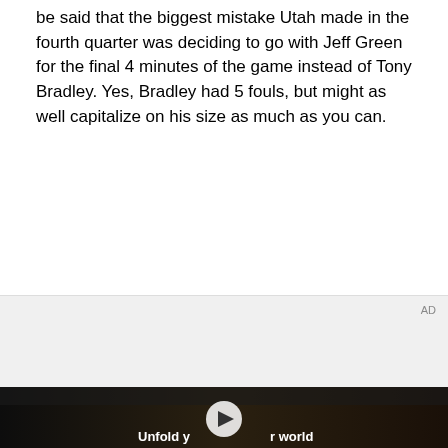be said that the biggest mistake Utah made in the fourth quarter was deciding to go with Jeff Green for the final 4 minutes of the game instead of Tony Bradley. Yes, Bradley had 5 fouls, but might as well capitalize on his size as much as you can.
[Figure (screenshot): Advertisement box with 'AD' label, followed by a video player screenshot showing a woman in a car holding a foldable phone with text overlay 'Unfold your world']
[Figure (logo): Circular logo with globe/world map design on dark background, bottom left]
[Figure (other): Twitter bird icon (blue) and Facebook 'f' icon (blue) social share buttons, bottom right]